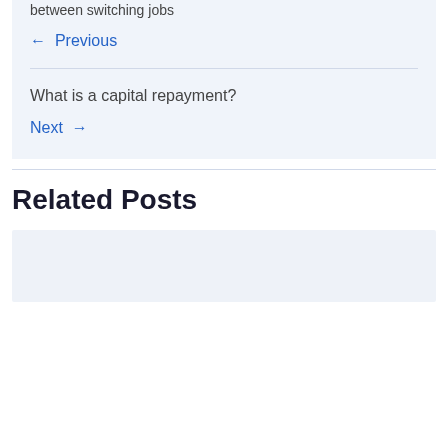between switching jobs
← Previous
What is a capital repayment?
Next →
Related Posts